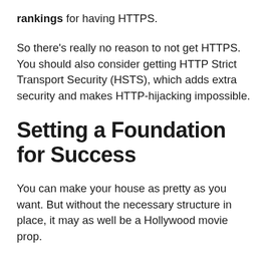rankings for having HTTPS.
So there's really no reason to not get HTTPS. You should also consider getting HTTP Strict Transport Security (HSTS), which adds extra security and makes HTTP-hijacking impossible.
Setting a Foundation for Success
You can make your house as pretty as you want. But without the necessary structure in place, it may as well be a Hollywood movie prop.